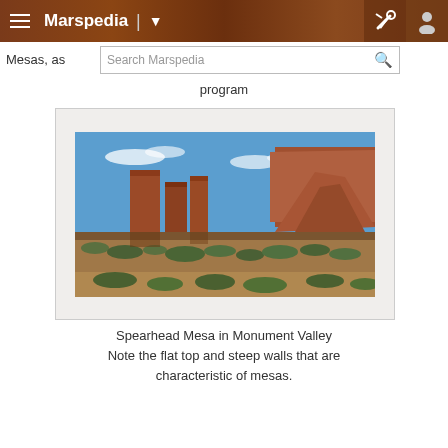Marspedia
Mesas, as program
[Figure (photo): Spearhead Mesa in Monument Valley — red sandstone mesas with flat tops and steep walls, blue sky with clouds, desert scrub in foreground]
Spearhead Mesa in Monument Valley
Note the flat top and steep walls that are characteristic of mesas.